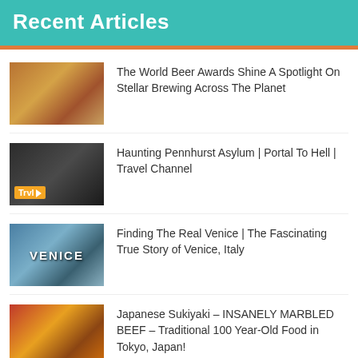Recent Articles
The World Beer Awards Shine A Spotlight On Stellar Brewing Across The Planet
Haunting Pennhurst Asylum | Portal To Hell | Travel Channel
Finding The Real Venice | The Fascinating True Story of Venice, Italy
Japanese Sukiyaki – INSANELY MARBLED BEEF – Traditional 100 Year-Old Food in Tokyo, Japan!
Lake Garda Travel Guide